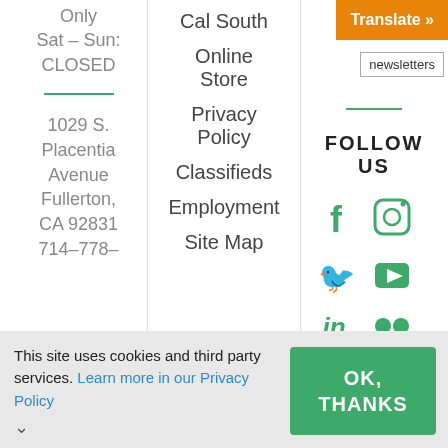Only
Sat - Sun:
CLOSED
1029 S. Placentia Avenue Fullerton, CA 92831
714-778-
Cal South
Online Store
Privacy Policy
Classifieds
Employment
Site Map
Translate »
newsletters
FOLLOW US
[Figure (infographic): Social media icons: Facebook, Instagram, Twitter, YouTube play button, LinkedIn, Flickr, YouTube 4K banner]
This site uses cookies and third party services. Learn more in our Privacy Policy
OK, THANKS